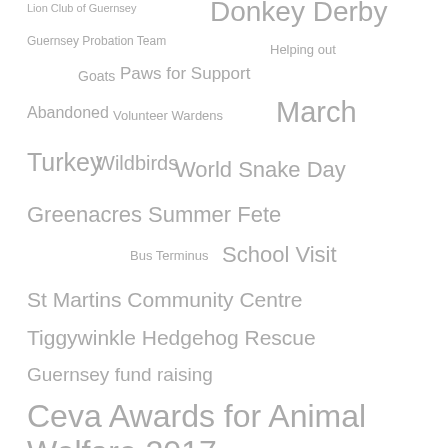[Figure (infographic): Tag cloud featuring various terms related to Guernsey animal welfare, community events, and organizations. Terms include: Lion Club of Guernsey, Donkey Derby, Guernsey Probation Team, Helping out, Goats, Paws for Support, Abandoned, Volunteer Wardens, March, Turkey, Wildbirds, World Snake Day, Greenacres Summer Fete, Bus Terminus, School Visit, St Martins Community Centre, Tiggywinkle Hedgehog Rescue, Guernsey fund raising, Ceva Awards for Animal Welfare 2017, National Pet Month, 4th Guernsey Beavers, The Pet Cabin, Spike Productions, Co-op Homemaker, Hermit crab, Furniture, Mascots, The Day Trippers, Robin]